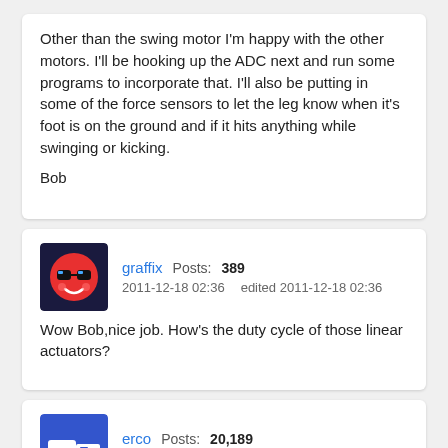Other than the swing motor I'm happy with the other motors. I'll be hooking up the ADC next and run some programs to incorporate that. I'll also be putting in some of the force sensors to let the leg know when it's foot is on the ground and if it hits anything while swinging or kicking.

Bob
graffix  Posts: 389
2011-12-18 02:36   edited 2011-12-18 02:36
Wow Bob,nice job. How's the duty cycle of those linear actuators?
erco  Posts: 20,189
2011-12-18 08:25   edited 2011-12-18 08:25